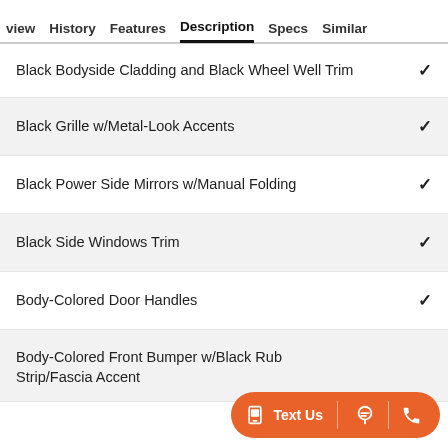view  History  Features  Description  Specs  Similar
Black Bodyside Cladding and Black Wheel Well Trim ✓
Black Grille w/Metal-Look Accents ✓
Black Power Side Mirrors w/Manual Folding ✓
Black Side Windows Trim ✓
Body-Colored Door Handles ✓
Body-Colored Front Bumper w/Black Rub Strip/Fascia Accent ✓